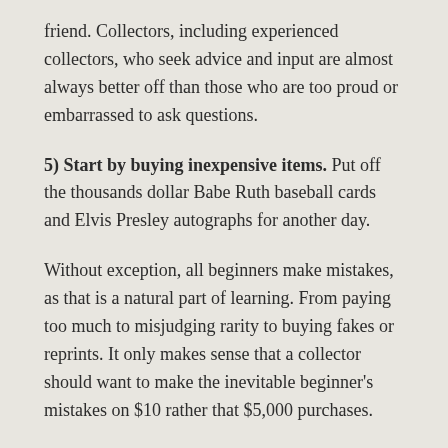friend. Collectors, including experienced collectors, who seek advice and input are almost always better off than those who are too proud or embarrassed to ask questions.
5) Start by buying inexpensive items. Put off the thousands dollar Babe Ruth baseball cards and Elvis Presley autographs for another day.
Without exception, all beginners make mistakes, as that is a natural part of learning. From paying too much to misjudging rarity to buying fakes or reprints. It only makes sense that a collector should want to make the inevitable beginner's mistakes on $10 rather that $5,000 purchases.